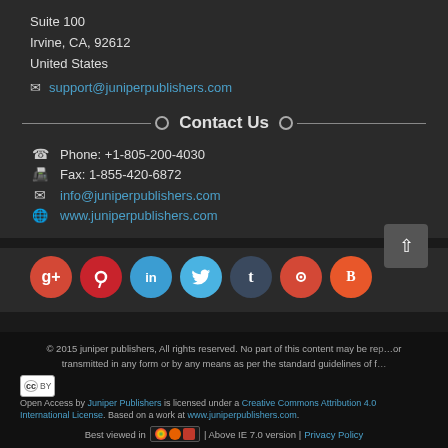Suite 100
Irvine, CA, 92612
United States
support@juniperpublishers.com
Contact Us
Phone: +1-805-200-4030
Fax: 1-855-420-6872
info@juniperpublishers.com
www.juniperpublishers.com
[Figure (infographic): Social media icon buttons: Google+, Pinterest, LinkedIn, Twitter, Tumblr, Maxmind, Blogger]
© 2015 juniper publishers, All rights reserved. No part of this content may be reproduced or transmitted in any form or by any means as per the standard guidelines of f...
Open Access by Juniper Publishers is licensed under a Creative Commons Attribution 4.0 International License. Based on a work at www.juniperpublishers.com.
Best viewed in | Above IE 7.0 version | Privacy Policy